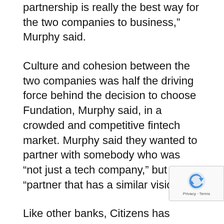partnership is really the best way for the two companies to business,” Murphy said.
Culture and cohesion between the two companies was half the driving force behind the decision to choose Fundation, Murphy said, in a crowded and competitive fintech market. Murphy said they wanted to partner with somebody who was “not just a tech company,” but a “partner that has a similar vision.”
Like other banks, Citizens has several relationships with fintech companies which provide other services, like SigFig, for instance, a tech-based personal investment platform. But Fundation offered something that was new to the bank, and has in just a short time already proven its worth.
It’s shortened the time from application to credit de... to as little as three days, which in previous generations...